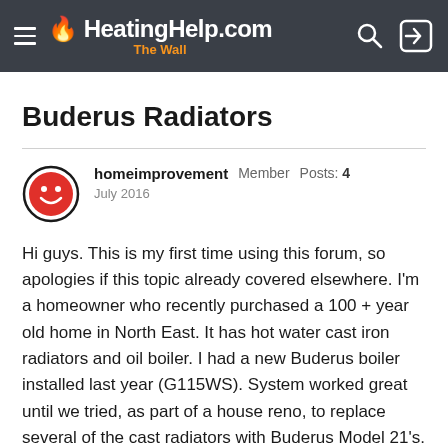HeatingHelp.com The Wall
Buderus Radiators
homeimprovement  Member  Posts: 4
July 2016
Hi guys. This is my first time using this forum, so apologies if this topic already covered elsewhere. I'm a homeowner who recently purchased a 100 + year old home in North East. It has hot water cast iron radiators and oil boiler. I had a new Buderus boiler installed last year (G115WS). System worked great until we tried, as part of a house reno, to replace several of the cast radiators with Buderus Model 21's. We cannot get them to heat up despite rest of the system